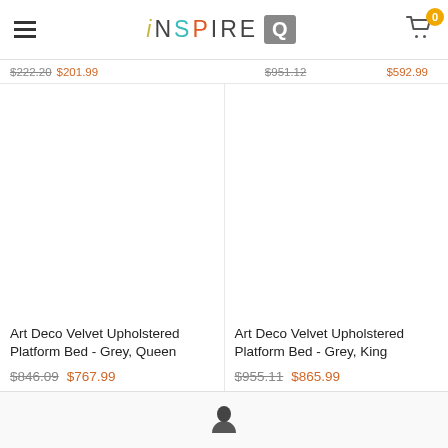iNSPIRE Q — navigation header with hamburger menu, logo, and cart (0 items)
$222.20  $201.99  |  $951.12  $592.99
Art Deco Velvet Upholstered Platform Bed - Grey, Queen
$846.09  $767.99
Art Deco Velvet Upholstered Platform Bed - Grey, King
$955.11  $865.99
User account icon